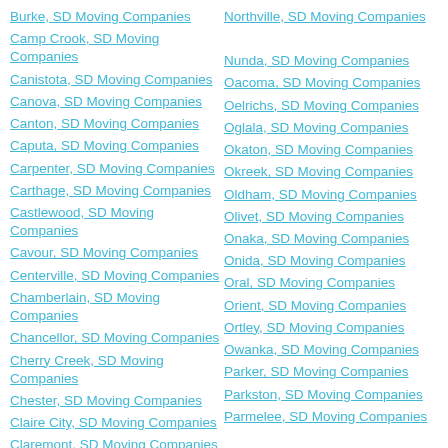Burke, SD Moving Companies
Camp Crook, SD Moving Companies
Canistota, SD Moving Companies
Canova, SD Moving Companies
Canton, SD Moving Companies
Caputa, SD Moving Companies
Carpenter, SD Moving Companies
Carthage, SD Moving Companies
Castlewood, SD Moving Companies
Cavour, SD Moving Companies
Centerville, SD Moving Companies
Chamberlain, SD Moving Companies
Chancellor, SD Moving Companies
Cherry Creek, SD Moving Companies
Chester, SD Moving Companies
Claire City, SD Moving Companies
Claremont, SD Moving Companies
Clark, SD Moving Companies
Northville, SD Moving Companies
Nunda, SD Moving Companies
Oacoma, SD Moving Companies
Oelrichs, SD Moving Companies
Oglala, SD Moving Companies
Okaton, SD Moving Companies
Okreek, SD Moving Companies
Oldham, SD Moving Companies
Olivet, SD Moving Companies
Onaka, SD Moving Companies
Onida, SD Moving Companies
Oral, SD Moving Companies
Orient, SD Moving Companies
Ortley, SD Moving Companies
Owanka, SD Moving Companies
Parker, SD Moving Companies
Parkston, SD Moving Companies
Parmelee, SD Moving Companies